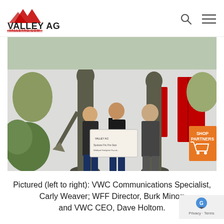[Figure (logo): Valley AG logo with mountain peaks in red and text VALLEY AG and VALLEYAG.COM]
[Figure (photo): Three people standing in front of two large bronze firefighter statues outside a building with red doors. The center person holds a large ceremonial check. An orange Shop Partners badge with cart icon overlays the bottom right.]
Pictured (left to right): VWC Communications Specialist, Carly Weaver; WFF Director, Burk Minor; and VWC CEO, Dave Holtom.